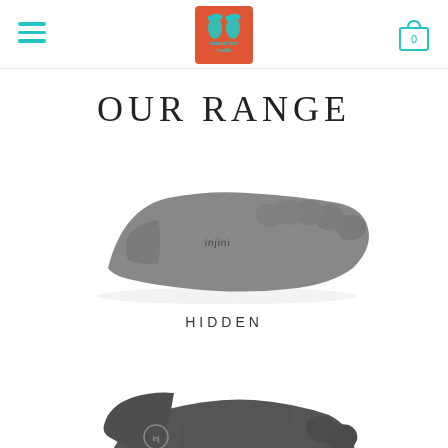[Figure (logo): Natural Foot Health logo: orange/red square with two teal foot outlines and text 'natural foot health' in teal]
[Figure (other): Hamburger menu icon with three teal horizontal lines]
[Figure (other): Shopping cart icon in teal outline with number 0]
OUR RANGE
[Figure (photo): Grey toe sock (injinji brand) shown as a hidden/no-show style sock with individual toe slots, photographed on white background]
HIDDEN
[Figure (photo): Partial view of another injinji toe sock style, dark grey, partially cut off at bottom of page]